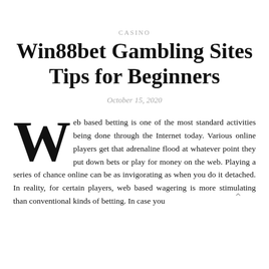CASINO
Win88bet Gambling Sites Tips for Beginners
October 15, 2020
Web based betting is one of the most standard activities being done through the Internet today. Various online players get that adrenaline flood at whatever point they put down bets or play for money on the web. Playing a series of chance online can be as invigorating as when you do it detached. In reality, for certain players, web based wagering is more stimulating than conventional kinds of betting. In case you